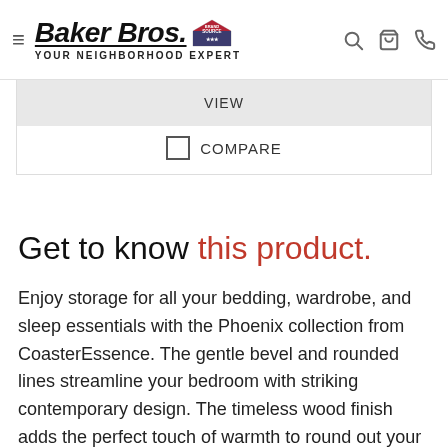Baker Bros. Brand Source — Your Neighborhood Expert
VIEW
COMPARE
Get to know this product.
Enjoy storage for all your bedding, wardrobe, and sleep essentials with the Phoenix collection from CoasterEssence. The gentle bevel and rounded lines streamline your bedroom with striking contemporary design. The timeless wood finish adds the perfect touch of warmth to round out your room with the welcoming feel of